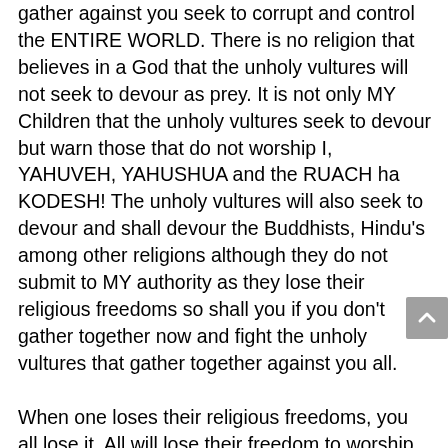gather against you seek to corrupt and control the ENTIRE WORLD. There is no religion that believes in a God that the unholy vultures will not seek to devour as prey. It is not only MY Children that the unholy vultures seek to devour but warn those that do not worship I, YAHUVEH, YAHUSHUA and the RUACH ha KODESH! The unholy vultures will also seek to devour and shall devour the Buddhists, Hindu's among other religions although they do not submit to MY authority as they lose their religious freedoms so shall you if you don't gather together now and fight the unholy vultures that gather together against you all.

When one loses their religious freedoms, you all lose it. All will lose their freedom to worship. Now will you care for one another? You have the gold and silver to create idols, use it to fight the unholy vultures. The idols can't speak or war but those that oppose you will speak and war against you. Use what means I have given you, not